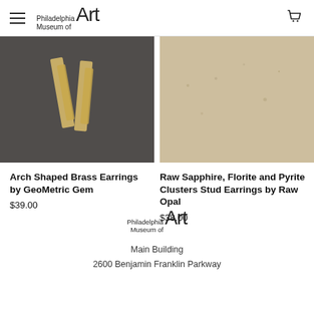Philadelphia Museum of Art
[Figure (photo): Two gold/brass arch-shaped earrings on a dark stone surface]
[Figure (photo): Raw sapphire, florite and pyrite cluster stud earrings on a light stone surface]
Arch Shaped Brass Earrings by GeoMetric Gem
$39.00
Raw Sapphire, Florite and Pyrite Clusters Stud Earrings by Raw Opal
$38.00
[Figure (logo): Philadelphia Museum of Art logo]
Main Building
2600 Benjamin Franklin Parkway